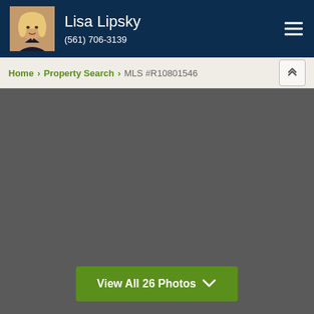Lisa Lipsky (561) 706-3139
Home > Property Search > MLS #R10801546
[Figure (photo): Large dark gray placeholder area for property listing photos]
View All 26 Photos